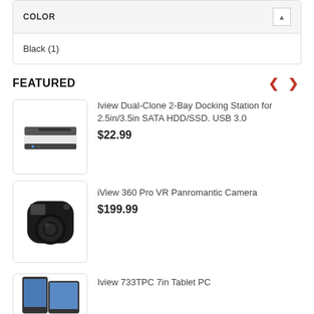COLOR
Black (1)
FEATURED
Iview Dual-Clone 2-Bay Docking Station for 2.5in/3.5in SATA HDD/SSD. USB 3.0
$22.99
[Figure (photo): Iview Dual-Clone 2-Bay Docking Station - white and black device]
iView 360 Pro VR Panromantic Camera
$199.99
[Figure (photo): iView 360 Pro VR Panromantic Camera - black spherical camera]
Iview 733TPC 7in Tablet PC
[Figure (photo): Iview 733TPC 7in Tablet PC - partial view at bottom]